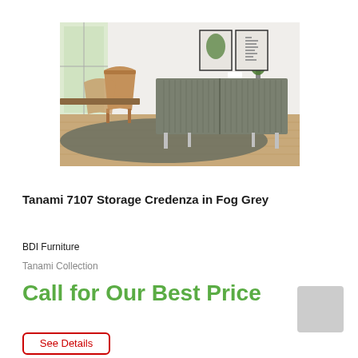[Figure (photo): Interior lifestyle photo showing a grey sideboard/credenza on metal legs against a white wall, with framed art and a plant on top, dining chairs and table to the left, on a patterned rug over light wood flooring.]
Tanami 7107 Storage Credenza in Fog Grey
BDI Furniture
Tanami Collection
Call for Our Best Price
See Details